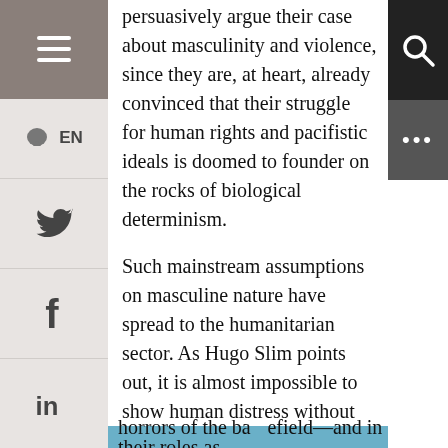[Figure (other): Left sidebar with hamburger menu icon (dark taupe background), EN language selector with speech bubble icon, Twitter bird icon, Facebook f icon, LinkedIn in icon, all on light gray background]
[Figure (other): Right sidebar with search/magnifying glass icon on black background and three dots icon on dark gray background]
persuasively argue their case about masculinity and violence, since they are, at heart, already convinced that their struggle for human rights and pacifistic ideals is doomed to founder on the rocks of biological determinism.
Such mainstream assumptions on masculine nature have spread to the humanitarian sector. As Hugo Slim points out, it is almost impossible to show human distress without foregrounding it in the suffering of women and children. In speeches and in operations, the beneficiaries of humanitarian assistance and the faces that unblock huge sums of humanitarian aid at large international conferences are those of women and children. In these situations, projects that are designed to specifically address the suffering of men in war are paid scant attention.[1] This is so despite its particular nature: men, past and present, are after all the victims of war too (perhaps more so in today's civil wars). They are victims in their roles as fighters—often involuntary, exposed to all the dangers and [cut off] battlefield—and in their roles as